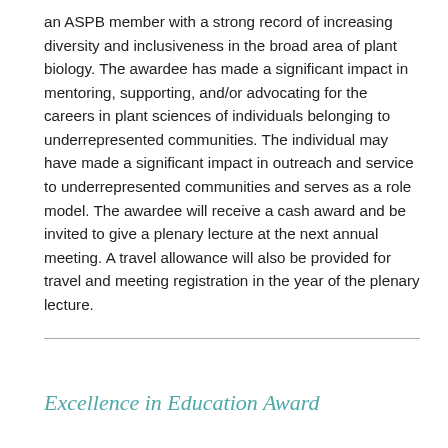an ASPB member with a strong record of increasing diversity and inclusiveness in the broad area of plant biology. The awardee has made a significant impact in mentoring, supporting, and/or advocating for the careers in plant sciences of individuals belonging to underrepresented communities. The individual may have made a significant impact in outreach and service to underrepresented communities and serves as a role model. The awardee will receive a cash award and be invited to give a plenary lecture at the next annual meeting. A travel allowance will also be provided for travel and meeting registration in the year of the plenary lecture.
Excellence in Education Award